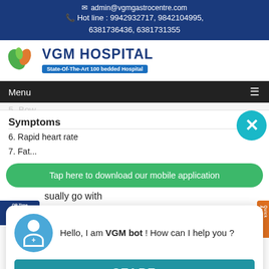admin@vgmgastrocentre.com  Hot line : 9942932717, 9842104995, 6381736436, 6381731355
[Figure (logo): VGM Hospital logo with leaf/plant icon, text 'VGM HOSPITAL' and subtitle 'State-Of-The-Art 100 bedded Hospital']
Menu
Symptoms
The main symptom of diarrhea is loose, watery stool, followed by dehydration usually go with
[Figure (screenshot): Green banner: 'Tap here to download our mobile application']
[Figure (screenshot): VGM bot chatbot popup with avatar icon, message 'Hello, I am VGM bot ! How can I help you ?' and START button]
6. Rapid heart rate
7. Fatigue